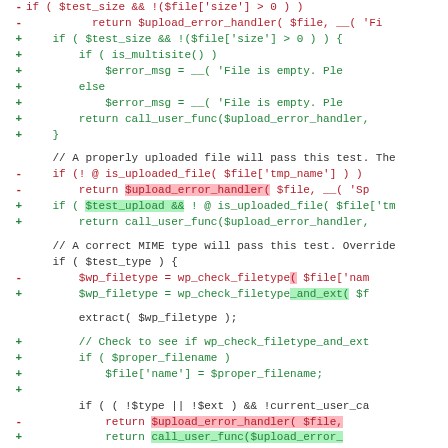[Figure (screenshot): A unified diff view of PHP source code showing additions and deletions with green/red highlighting. Lines with '-' prefix are deletions (red), lines with '+' prefix are additions (green). The code relates to WordPress file upload handling functions including $upload_error_handler, is_multisite(), $error_msg, is_uploaded_file(), wp_check_filetype(), wp_check_filetype_and_ext(), and related logic.]